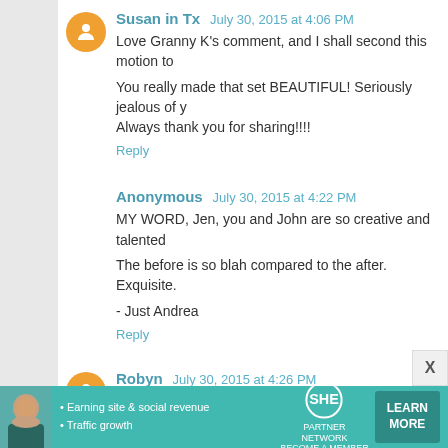Susan in Tx   July 30, 2015 at 4:06 PM
Love Granny K's comment, and I shall second this motion to
You really made that set BEAUTIFUL! Seriously jealous of y Always thank you for sharing!!!!
Reply
Anonymous   July 30, 2015 at 4:22 PM
MY WORD, Jen, you and John are so creative and talented
The before is so blah compared to the after. Exquisite.
- Just Andrea
Reply
Robyn   July 30, 2015 at 4:26 PM
Truly and gloriously impressive. but I feel the need to ask....
Reply
[Figure (infographic): SHE Partner Network advertisement banner with photo of woman, bullet points about earning site & social revenue and traffic growth, SHE logo, and LEARN MORE button]